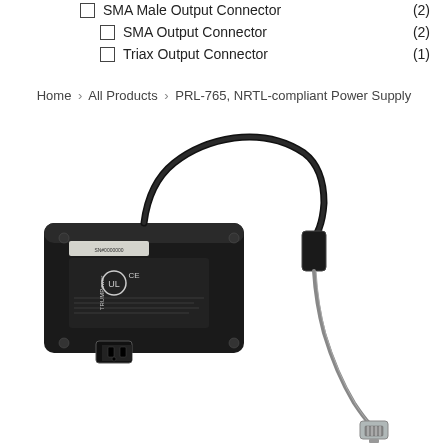SMA Male Output Connector (2)
SMA Output Connector (2)
Triax Output Connector (1)
Home > All Products > PRL-765, NRTL-compliant Power Supply
[Figure (photo): Photo of a black TRUMPower power supply unit with AC inlet and cable, connected to a grey flat cable with RJ-style connector. The power supply is a rectangular black brick with certification labels visible.]